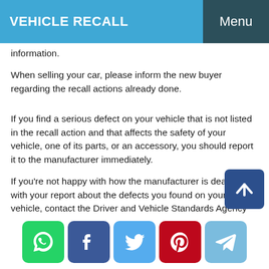VEHICLE RECALL  Menu
information.
When selling your car, please inform the new buyer regarding the recall actions already done.
If you find a serious defect on your vehicle that is not listed in the recall action and that affects the safety of your vehicle, one of its parts, or an accessory, you should report it to the manufacturer immediately.
If you’re not happy with how the manufacturer is dealing with your report about the defects you found on your vehicle, contact the Driver and Vehicle Standards Agency (DVSA) with a complete description of the situation and actions you have taken so that the DVSA can take the proper actions when contacting the manufacturer.
[Figure (other): Social media sharing icons: WhatsApp (green), Facebook (blue), Twitter (light blue), Pinterest (red), Telegram (blue)]